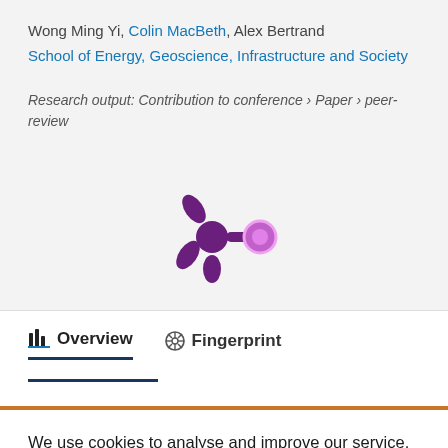Wong Ming Yi, Colin MacBeth, Alex Bertrand
School of Energy, Geoscience, Infrastructure and Society
Research output: Contribution to conference › Paper › peer-review
[Figure (logo): Altmetric donut-style logo with purple starburst shape and purple/pink circle]
Overview
Fingerprint
We use cookies to analyse and improve our service. Cookie Policy